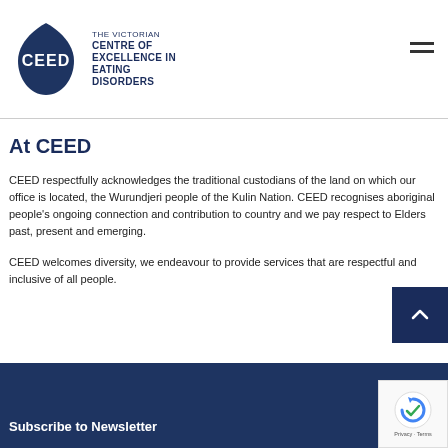[Figure (logo): CEED logo: dark navy teardrop/shield shape with 'CEED' in white text, beside text reading 'THE VICTORIAN CENTRE OF EXCELLENCE IN EATING DISORDERS']
At CEED
CEED respectfully acknowledges the traditional custodians of the land on which our office is located, the Wurundjeri people of the Kulin Nation. CEED recognises aboriginal people's ongoing connection and contribution to country and we pay respect to Elders past, present and emerging.
CEED welcomes diversity, we endeavour to provide services that are respectful and inclusive of all people.
Subscribe to Newsletter